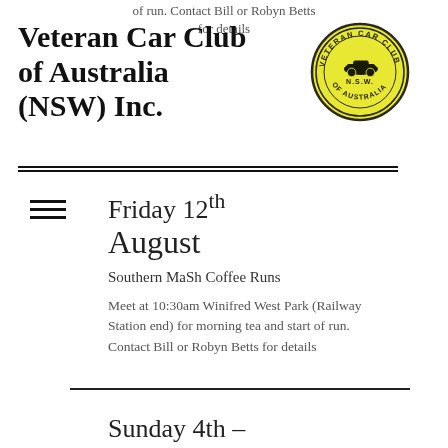of run. Contact Bill or Robyn Betts for details
Veteran Car Club of Australia (NSW) Inc.
[Figure (logo): Circular badge logo for Veteran Car Club of Australia (NSW), yellow background with dark green text and vintage car illustration]
Friday 12th August
Southern MaSh Coffee Runs
Meet at 10:30am Winifred West Park (Railway Station end) for morning tea and start of run. Contact Bill or Robyn Betts for details
Sunday 4th –